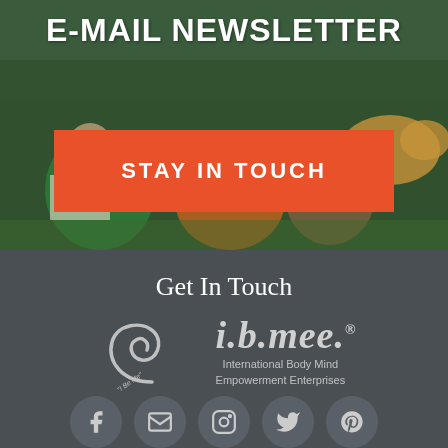[Figure (photo): Children and a dog lying on green grass reading a newspaper, background photo for email newsletter section]
E-MAIL NEWSLETTER
STAY IN TOUCH
[Figure (logo): i.b.mee. International Body Mind Empowerment Enterprises logo with decorative swirl and 'I Be Me' text]
Get In Touch
i.b.mee. International Body Mind Empowerment Enterprises